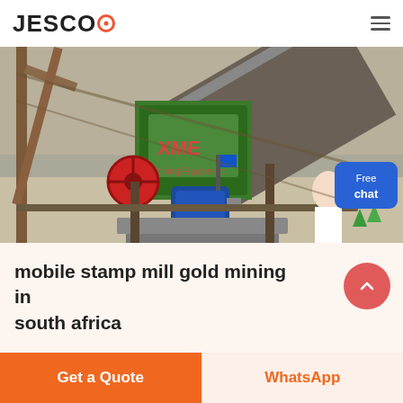JESCO
[Figure (photo): Industrial mining machinery on a construction site, showing green crusher equipment with XME branding, conveyor belt system, blue electric motor, steel scaffolding, and a customer service representative on the right side with a 'Free chat' button overlay]
mobile stamp mill gold mining in south africa
Get a Quote
WhatsApp